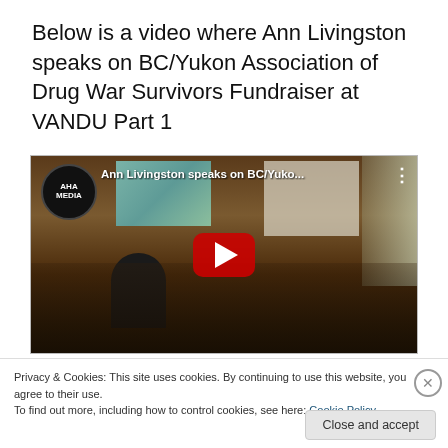Below is a video where Ann Livingston speaks on BC/Yukon Association of Drug War Survivors Fundraiser at VANDU Part 1
[Figure (screenshot): YouTube video thumbnail showing Ann Livingston speaking at a BC/Yukon Association of Drug War Survivors Fundraiser at VANDU. The AHA Media logo appears in the top-left corner with the video title 'Ann Livingston speaks on BC/Yuko...' The center shows a red YouTube play button. People are visible in the background including a speaker and audience members.]
Privacy & Cookies: This site uses cookies. By continuing to use this website, you agree to their use.
To find out more, including how to control cookies, see here: Cookie Policy
Close and accept